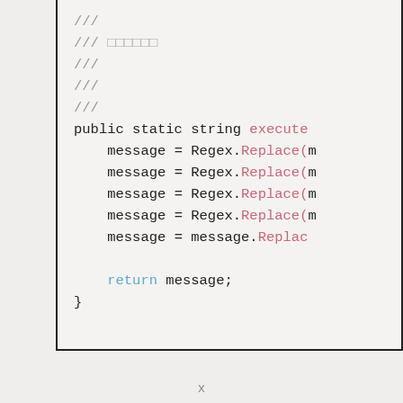[Figure (screenshot): Code snippet showing C# source code with XML doc comments (///) and a public static string method named execute with multiple Regex.Replace and message.Replace calls, ending with return message;]
x